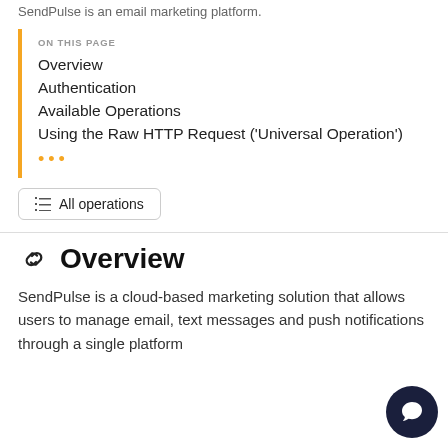SendPulse is an email marketing platform.
ON THIS PAGE
Overview
Authentication
Available Operations
Using the Raw HTTP Request ('Universal Operation')
...
All operations
Overview
SendPulse is a cloud-based marketing solution that allows users to manage email, text messages and push notifications through a single platform